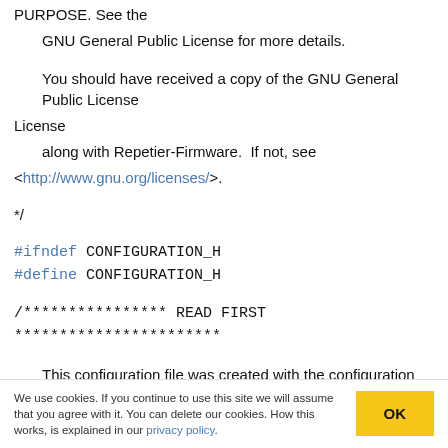PURPOSE.  See the
    GNU General Public License for more details.
You should have received a copy of the GNU General Public License
    along with Repetier-Firmware.  If not, see
<http://www.gnu.org/licenses/>.
*/
#ifndef CONFIGURATION_H
#define CONFIGURATION_H
/**************** READ FIRST ***********************
This configuration file was created with the configuration tool. For
We use cookies. If you continue to use this site we will assume that you agree with it. You can delete our cookies. How this works, is explained in our privacy policy.